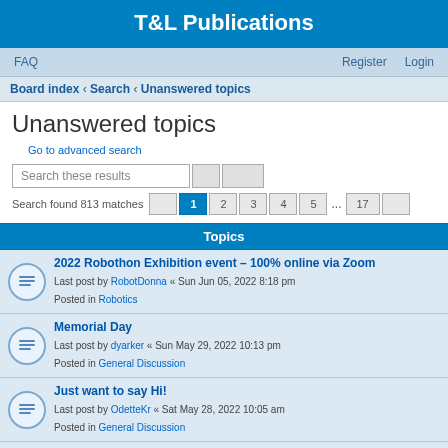T&L Publications
FAQ   Register   Login
Board index › Search › Unanswered topics
Unanswered topics
Go to advanced search
Search these results
Search found 813 matches   1 2 3 4 5 ... 17
Topics
2022 Robothon Exhibition event – 100% online via Zoom
Last post by RobotDonna « Sun Jun 05, 2022 8:18 pm
Posted in Robotics
Memorial Day
Last post by dyarker « Sun May 29, 2022 10:13 pm
Posted in General Discussion
Just want to say Hi!
Last post by OdetteKr « Sat May 28, 2022 10:05 am
Posted in General Discussion
The Robot Baby Problem
Last post by ...